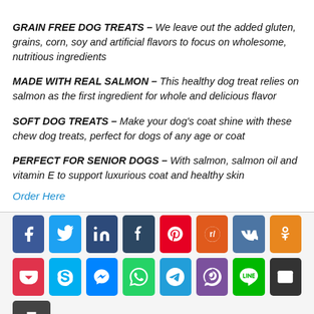GRAIN FREE DOG TREATS – We leave out the added gluten, grains, corn, soy and artificial flavors to focus on wholesome, nutritious ingredients
MADE WITH REAL SALMON – This healthy dog treat relies on salmon as the first ingredient for whole and delicious flavor
SOFT DOG TREATS – Make your dog's coat shine with these chew dog treats, perfect for dogs of any age or coat
PERFECT FOR SENIOR DOGS – With salmon, salmon oil and vitamin E to support luxurious coat and healthy skin
Order Here
[Figure (infographic): Social media share buttons: Facebook, Twitter, LinkedIn, Tumblr, Pinterest, Reddit, VK, Odnoklassniki, Pocket, Skype, Messenger, WhatsApp, Telegram, Viber, Line, Email, Print]